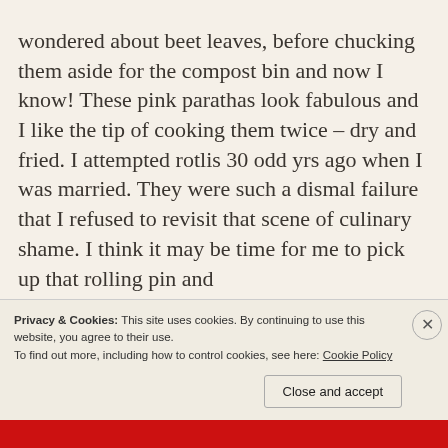sketch writing for ONE... have often wondered about beet leaves, before chucking them aside for the compost bin and now I know! These pink parathas look fabulous and I like the tip of cooking them twice – dry and fried. I attempted rotlis 30 odd yrs ago when I was married. They were such a dismal failure that I refused to revisit that scene of culinary shame. I think it may be time for me to pick up that rolling pin and
Privacy & Cookies: This site uses cookies. By continuing to use this website, you agree to their use.
To find out more, including how to control cookies, see here: Cookie Policy